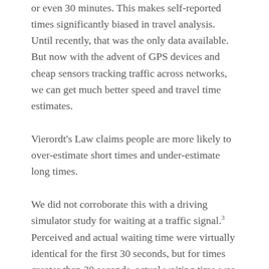or even 30 minutes. This makes self-reported times significantly biased in travel analysis. Until recently, that was the only data available. But now with the advent of GPS devices and cheap sensors tracking traffic across networks, we can get much better speed and travel time estimates.
Vierordt's Law claims people are more likely to over-estimate short times and under-estimate long times.
We did not corroborate this with a driving simulator study for waiting at a traffic signal.³ Perceived and actual waiting time were virtually identical for the first 30 seconds, but for times greater than 30 seconds, actual waiting time was higher than perceived waiting time, up to 120 seconds. At 120 seconds, the trend was for perceived time to overtake actual time, but that was the